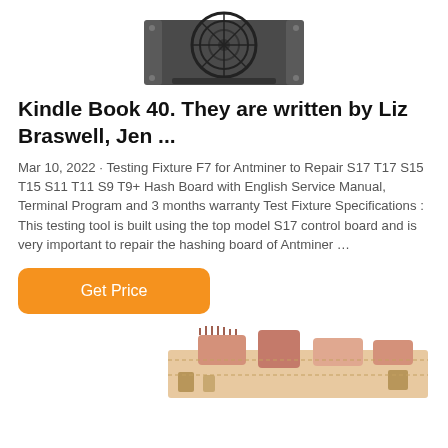[Figure (photo): Top portion of an Antminer cryptocurrency mining device showing fan and black casing, cropped at top of page]
Kindle Book 40. They are written by Liz Braswell, Jen ...
Mar 10, 2022 · Testing Fixture F7 for Antminer to Repair S17 T17 S15 T15 S11 T11 S9 T9+ Hash Board with English Service Manual, Terminal Program and 3 months warranty Test Fixture Specifications : This testing tool is built using the top model S17 control board and is very important to repair the hashing board of Antminer …
[Figure (other): Orange rounded rectangle button labeled 'Get Price']
[Figure (photo): Partial view of electronic components/circuit board, pink/copper colored, visible at bottom of page]